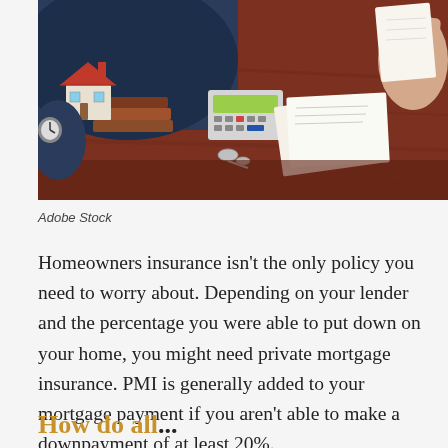[Figure (photo): A desk scene with a miniature house model, stacked books, a calculator, keys, and documents, with hands exchanging papers in the background — mortgage or insurance consultation setting.]
Adobe Stock
Homeowners insurance isn’t the only policy you need to worry about. Depending on your lender and the percentage you were able to put down on your home, you might need private mortgage insurance. PMI is generally added to your mortgage payment if you aren’t able to make a downpayment of at least 20%.
How do all...